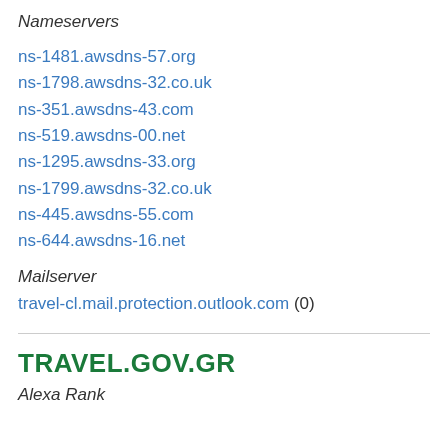Nameservers
ns-1481.awsdns-57.org
ns-1798.awsdns-32.co.uk
ns-351.awsdns-43.com
ns-519.awsdns-00.net
ns-1295.awsdns-33.org
ns-1799.awsdns-32.co.uk
ns-445.awsdns-55.com
ns-644.awsdns-16.net
Mailserver
travel-cl.mail.protection.outlook.com (0)
TRAVEL.GOV.GR
Alexa Rank